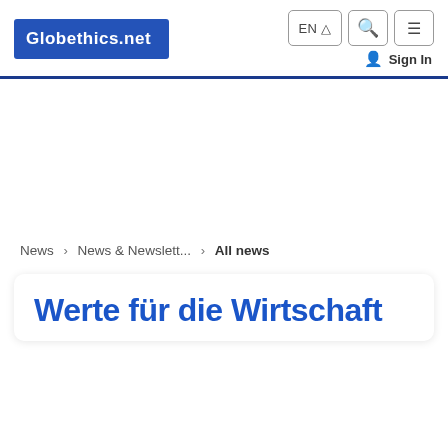Globethics.net | EN | Search | Menu | Sign In
News > News & Newslett... > All news
Werte für die Wirtschaft